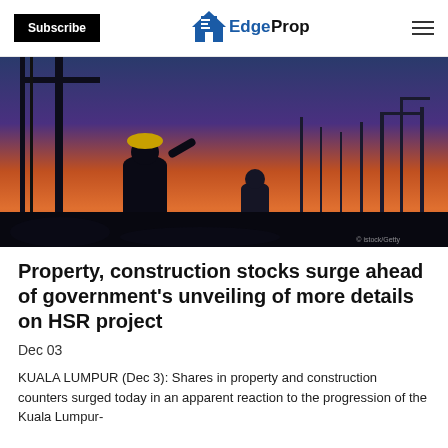Subscribe | EdgeProp
[Figure (photo): Silhouette of construction workers on a building site at sunset/dusk, with cranes and scaffolding visible against a colorful orange and blue sky.]
Property, construction stocks surge ahead of government's unveiling of more details on HSR project
Dec 03
KUALA LUMPUR (Dec 3): Shares in property and construction counters surged today in an apparent reaction to the progression of the Kuala Lumpur-